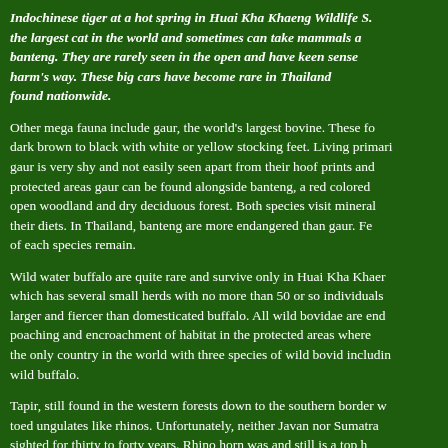Indochinese tiger at a hot spring in Huai Kha Khaeng Wildlife S... the largest cat in the world and sometimes can take mammals a... banteng. They are rarely seen in the open and have keen sense... harm's way. These big cars have become rare in Thailand... found nationwide.
Other mega fauna include gaur, the world's largest bovine. These fo... dark brown to black with white or yellow stocking feet. Living primari... gaur is very shy and not easily seen apart from their hoof prints and... protected areas gaur can be found alongside banteng, a red colored... open woodland and dry deciduous forest. Both species visit mineral... their diets. In Thailand, banteng are more endangered than gaur. Fe... of each species remain.
Wild water buffalo are quite rare and survive only in Huai Kha Khaer... which has several small herds with no more than 50 or so individuals... larger and fiercer than domesticated buffalo. All wild bovidae are enc... poaching and encroachment of habitat in the protected areas where... the only country in the world with three species of wild bovid includin... wild buffalo.
Tapir, still found in the western forests down to the southern border w... toed ungulates like rhinos. Unfortunately, neither Javan nor Sumatra... sighted for thirty to forty years. Rhino horn was and still is a top h...